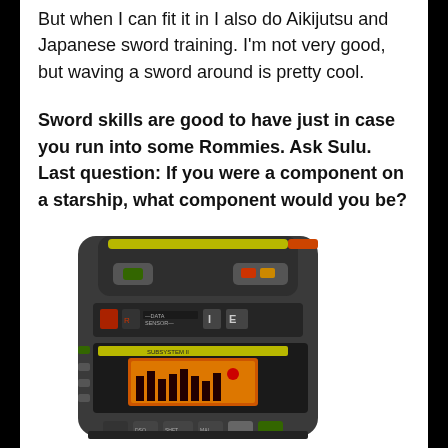But when I can fit it in I also do Aikijutsu and Japanese sword training. I'm not very good, but waving a sword around is pretty cool.
Sword skills are good to have just in case you run into some Rommies. Ask Sulu. Last question: If you were a component on a starship, what component would you be?
[Figure (photo): A Star Trek-style handheld device or tricorder prop with dark grey casing, glowing orange/yellow display screen showing a bar graph, various buttons and indicator lights in red/green/yellow.]